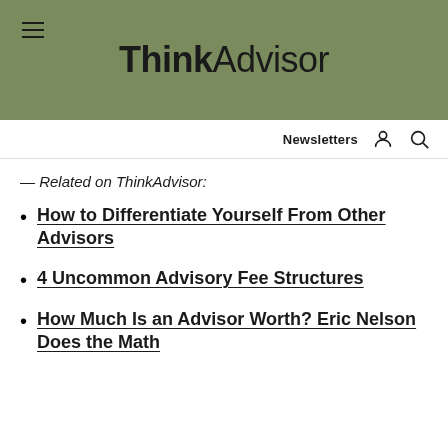ThinkAdvisor
— Related on ThinkAdvisor:
How to Differentiate Yourself From Other Advisors
4 Uncommon Advisory Fee Structures
How Much Is an Advisor Worth? Eric Nelson Does the Math